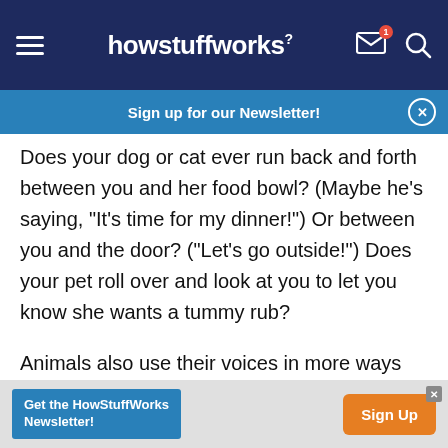howstuffworks
Sign up for our Newsletter!
Does your dog or cat ever run back and forth between you and her food bowl? (Maybe he's saying, "It's time for my dinner!") Or between you and the door? ("Let's go outside!") Does your pet roll over and look at you to let you know she wants a tummy rub?
Animals also use their voices in more ways than you might think. How many different barks does your dog have, and what do they all mean? He
Get the HowStuffWorks Newsletter! Sign Up